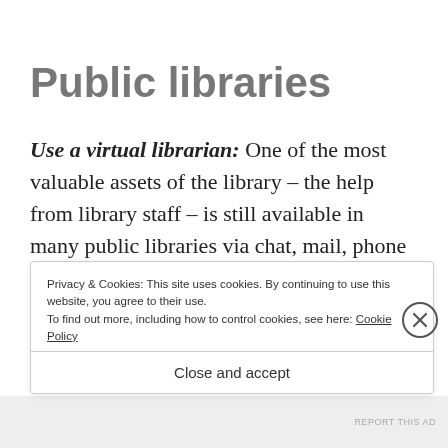Public libraries
Use a virtual librarian: One of the most valuable assets of the library – the help from library staff – is still available in many public libraries via chat, mail, phone or a video meeting. At Roskilde Libraries you can book a librarian for an online s[ession]
Privacy & Cookies: This site uses cookies. By continuing to use this website, you agree to their use.
To find out more, including how to control cookies, see here: Cookie Policy
Close and accept